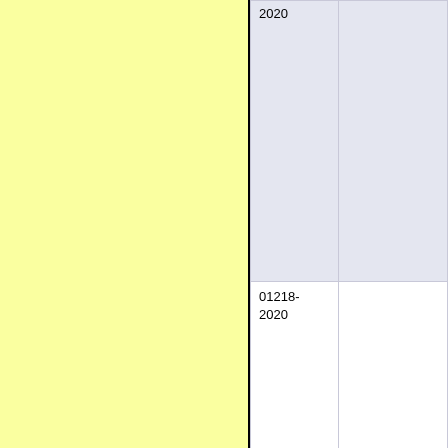| Code | Data |
| --- | --- |
| 2020 |  |
| 01218-2020 |  |
| 01222-2020 |  |
| 01223-2020 |  |